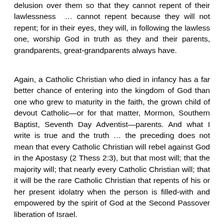delusion over them so that they cannot repent of their lawlessness … cannot repent because they will not repent; for in their eyes, they will, in following the lawless one, worship God in truth as they and their parents, grandparents, great-grandparents always have.
Again, a Catholic Christian who died in infancy has a far better chance of entering into the kingdom of God than one who grew to maturity in the faith, the grown child of devout Catholic—or for that matter, Mormon, Southern Baptist, Seventh Day Adventist—parents. And what I write is true and the truth … the preceding does not mean that every Catholic Christian will rebel against God in the Apostasy (2 Thess 2:3), but that most will; that the majority will; that nearly every Catholic Christian will; that it will be the rare Catholic Christian that repents of his or her present idolatry when the person is filled-with and empowered by the spirit of God at the Second Passover liberation of Israel.